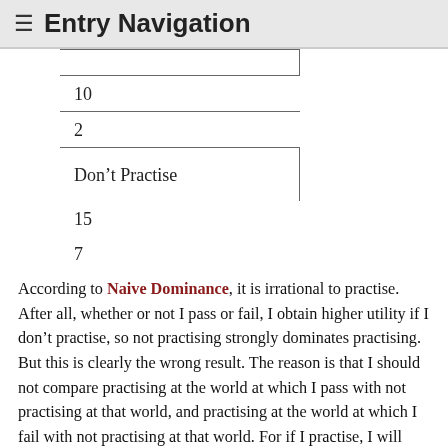≡ Entry Navigation
| 10 |
| 2 |
| Don't Practise |
| 15 |
| 7 |
According to Naive Dominance, it is irrational to practise. After all, whether or not I pass or fail, I obtain higher utility if I don't practise, so not practising strongly dominates practising. But this is clearly the wrong result. The reason is that I should not compare practising at the world at which I pass with not practising at that world, and practising at the world at which I fail with not practising at that world. For if I practise, I will pass; and if I don't, I will fail. Moreover, I know all this. So I should compare practising at the world at which I pass with not practising at the world at which I fail. And the utility